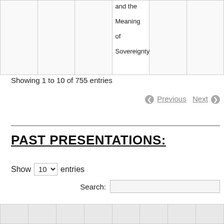|  |  |  | and the Meaning of Sovereignty |  |  |
Showing 1 to 10 of 755 entries
Previous  Next
PAST PRESENTATIONS:
Show 10 entries
Search:
|  |  |  |  |  |  |  |  |